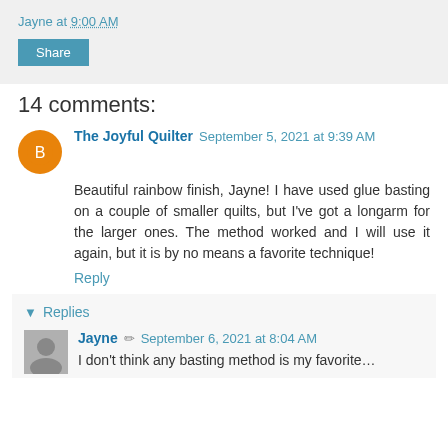Jayne at 9:00 AM
Share
14 comments:
The Joyful Quilter  September 5, 2021 at 9:39 AM
Beautiful rainbow finish, Jayne! I have used glue basting on a couple of smaller quilts, but I've got a longarm for the larger ones. The method worked and I will use it again, but it is by no means a favorite technique!
Reply
▼  Replies
Jayne  September 6, 2021 at 8:04 AM
I don't think any basting method is my favorite…